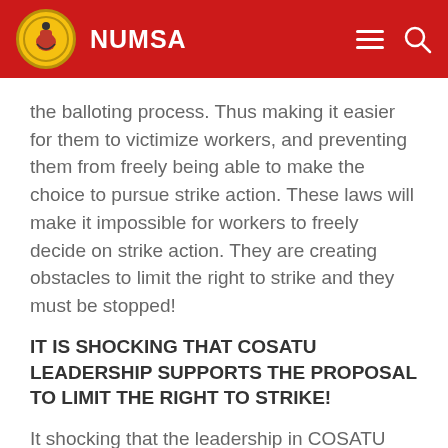NUMSA
the balloting process. Thus making it easier for them to victimize workers, and preventing them from freely being able to make the choice to pursue strike action. These laws will make it impossible for workers to freely decide on strike action. They are creating obstacles to limit the right to strike and they must be stopped!
IT IS SHOCKING THAT COSATU LEADERSHIP SUPPORTS THE PROPOSAL TO LIMIT THE RIGHT TO STRIKE!
It shocking that the leadership in COSATU agreed to the proposal to limit the right to strike, when in 2016, they rejected the very same amendments. Below is an excerpt from their own statement